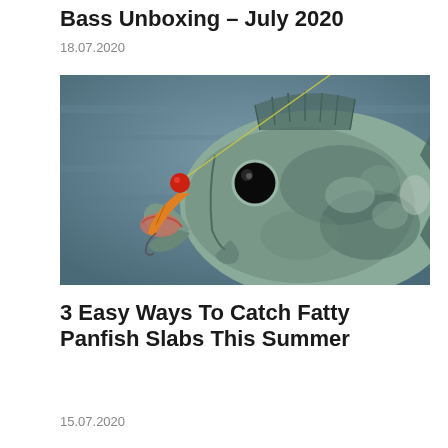Bass Unboxing – July 2020
18.07.2020
[Figure (photo): Close-up photograph of a panfish/sunfish with a red and orange fishing lure/jig in its mouth, fishing line visible at top, blurred gray-green water background]
3 Easy Ways To Catch Fatty Panfish Slabs This Summer
15.07.2020